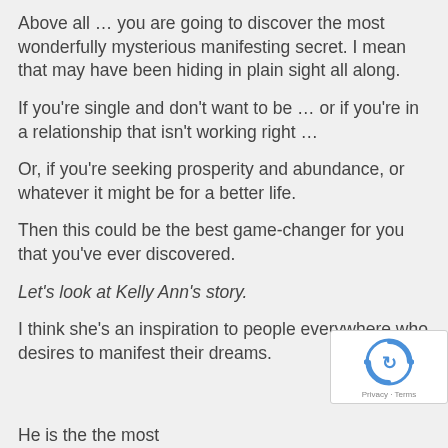Above all … you are going to discover the most wonderfully mysterious manifesting secret. I mean that may have been hiding in plain sight all along.
If you're single and don't want to be … or if you're in a relationship that isn't working right …
Or, if you're seeking prosperity and abundance, or whatever it might be for a better life.
Then this could be the best game-changer for you that you've ever discovered.
Let's look at Kelly Ann's story.
I think she's an inspiration to people everywhere who desires to manifest their dreams.
[Figure (logo): reCAPTCHA badge with spinning arrows logo and Privacy · Terms text]
He is the the most